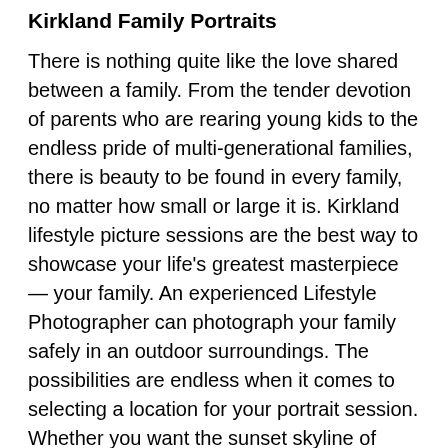Kirkland Family Portraits
There is nothing quite like the love shared between a family. From the tender devotion of parents who are rearing young kids to the endless pride of multi-generational families, there is beauty to be found in every family, no matter how small or large it is. Kirkland lifestyle picture sessions are the best way to showcase your life’s greatest masterpiece — your family. An experienced Lifestyle Photographer can photograph your family safely in an outdoor surroundings. The possibilities are endless when it comes to selecting a location for your portrait session. Whether you want the sunset skyline of Seattle behind you to create an urban vibe or you would rather have creative portraits taken with the mountains and lakes in the distance, a creative photographer can pose your family to perfection.
Kirkland Maternity Portraits